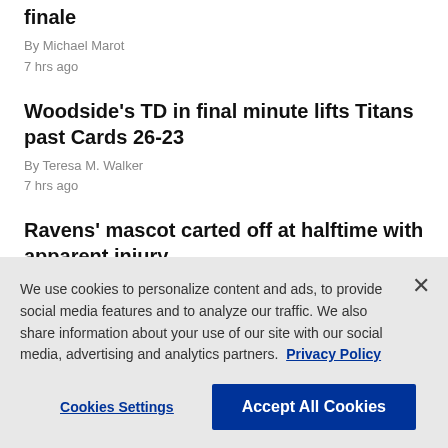finale
By Michael Marot
7 hrs ago
Woodside's TD in final minute lifts Titans past Cards 26-23
By Teresa M. Walker
7 hrs ago
Ravens' mascot carted off at halftime with apparent injury
8 hrs ago
We use cookies to personalize content and ads, to provide social media features and to analyze our traffic. We also share information about your use of our site with our social media, advertising and analytics partners. Privacy Policy
Cookies Settings | Accept All Cookies